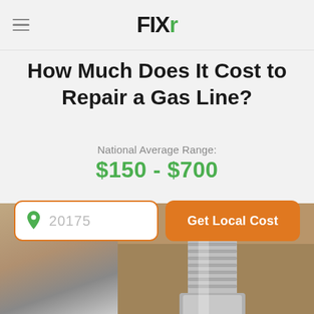FIXR
How Much Does It Cost to Repair a Gas Line?
National Average Range:
$150 - $700
20175
Get Local Cost
[Figure (photo): Close-up photo of a metal gas line fitting/connector showing a threaded flexible hose with a silver hex nut, against a blurred warm brown background.]